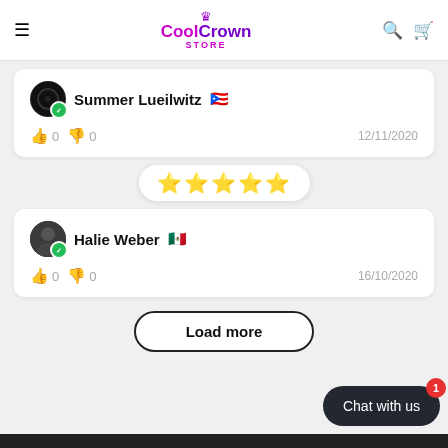Cool Crown Store
Summer Lueilwitz 🇵🇷 — 0 likes, 0 dislikes — 12/11/2020
[Figure (other): 5 gold stars rating badge]
Halie Weber 🇲🇽 — 0 likes, 0 dislikes — 16/10/2020
Load more
Chat with us 1